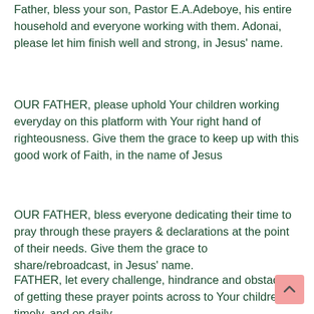Father, bless your son, Pastor E.A.Adeboye, his entire household and everyone working with them. Adonai, please let him finish well and strong, in Jesus' name.
OUR FATHER, please uphold Your children working everyday on this platform with Your right hand of righteousness. Give them the grace to keep up with this good work of Faith, in the name of Jesus
OUR FATHER, bless everyone dedicating their time to pray through these prayers & declarations at the point of their needs. Give them the grace to share/rebroadcast, in Jesus' name.
FATHER, let every challenge, hindrance and obstacle of getting these prayer points across to Your children, timely, and on daily